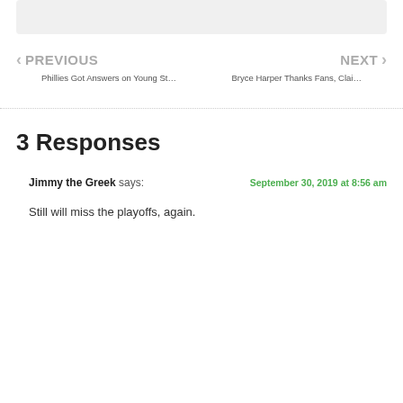PREVIOUS — Phillies Got Answers on Young St... | NEXT — Bryce Harper Thanks Fans, Clai...
3 Responses
Jimmy the Greek says: September 30, 2019 at 8:56 am
Still will miss the playoffs, again.